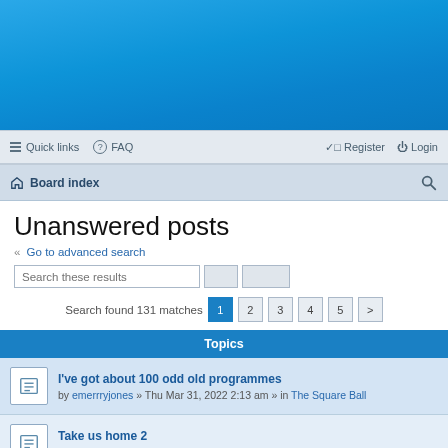[Figure (screenshot): Blue gradient header banner area for a phpBB forum website]
Quick links  FAQ  Register  Login
Board index
Unanswered posts
« Go to advanced search
Search these results
Search found 131 matches  1  2  3  4  5  >
Topics
I've got about 100 odd old programmes by emerrryjones » Thu Mar 31, 2022 2:13 am » in The Square Ball
Take us home 2 by Arnieb » Thu Sep 17, 2020 11:43 pm » in The Square Ball